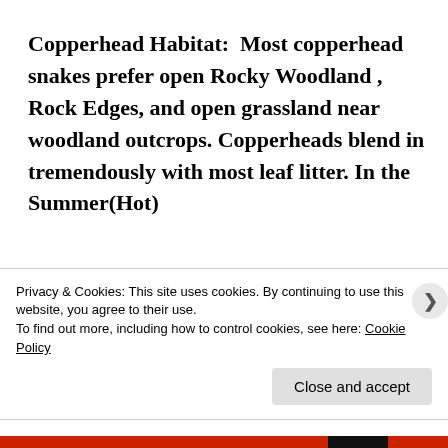Copperhead Habitat:  Most copperhead snakes prefer open Rocky Woodland , Rock Edges, and open grassland near woodland outcrops. Copperheads blend in tremendously with most leaf litter. In the Summer(Hot)
Privacy & Cookies: This site uses cookies. By continuing to use this website, you agree to their use.
To find out more, including how to control cookies, see here: Cookie Policy
Close and accept